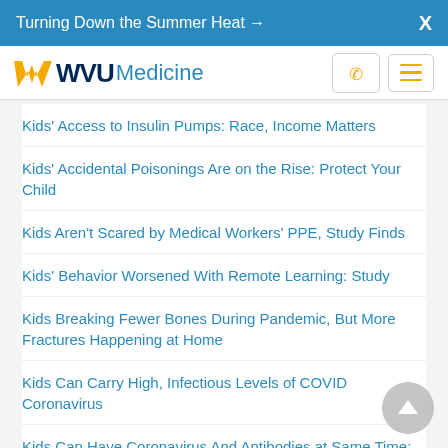Turning Down the Summer Heat →   X
[Figure (logo): WVU Medicine logo with flying WV emblem in gold, WVU in dark blue bold, Medicine in light blue]
Kids' Access to Insulin Pumps: Race, Income Matters
Kids' Accidental Poisonings Are on the Rise: Protect Your Child
Kids Aren't Scared by Medical Workers' PPE, Study Finds
Kids' Behavior Worsened With Remote Learning: Study
Kids Breaking Fewer Bones During Pandemic, But More Fractures Happening at Home
Kids Can Carry High, Infectious Levels of COVID Coronavirus
Kids Can Have Coronavirus And Antibodies at Same Time: Study
Kids 'Efficient' Transmitters as COVID-19 Raced Through a Georgia Summer Camp
Kids' ER Visits for Injuries Rose During Lockdown, While Non-Injury Cases Fell